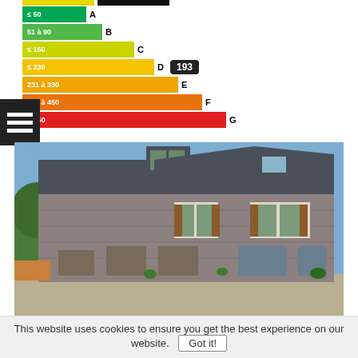[Figure (infographic): French energy efficiency rating chart (DPE) with coloured bars from A (green) to G (red). Rating D is highlighted with value 193 in a black badge.]
[Figure (photo): Photograph of a traditional French stone farmhouse with brown wooden shutters, slate roof, and a sunny courtyard.]
This website uses cookies to ensure you get the best experience on our website. Got it!